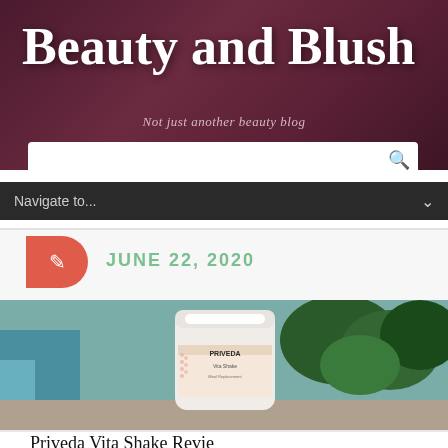Beauty and Blush
Not just another beauty blog
Navigate to...
JUNE 22, 2020
[Figure (photo): Product photo of Priveda Vita Shake container with article title overlay reading 'Priveda Vita Shake Review'. Background shows outdoor/garden setting.]
Priveda Vita Shake Review